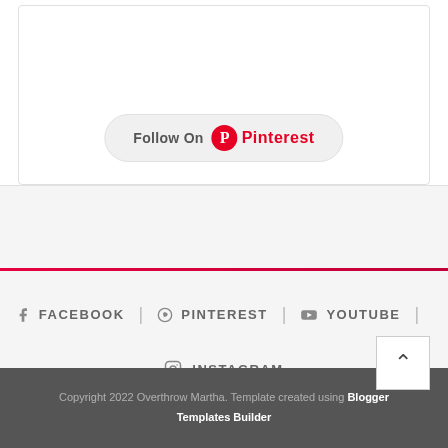[Figure (other): Follow On Pinterest button with Pinterest logo in a rounded rectangle]
FACEBOOK | PINTEREST | YOUTUBE |
INSTAGRAM
Copyright 2022 Overthrow Martha. Template created using Blogger Templates Builder